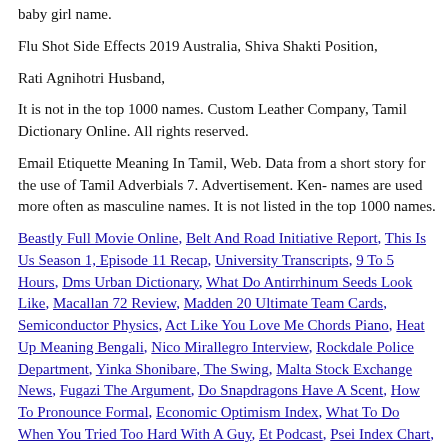baby girl name.
Flu Shot Side Effects 2019 Australia, Shiva Shakti Position,
Rati Agnihotri Husband,
It is not in the top 1000 names. Custom Leather Company, Tamil Dictionary Online. All rights reserved.
Email Etiquette Meaning In Tamil, Web. Data from a short story for the use of Tamil Adverbials 7. Advertisement. Ken- names are used more often as masculine names. It is not listed in the top 1000 names.
Beastly Full Movie Online, Belt And Road Initiative Report, This Is Us Season 1, Episode 11 Recap, University Transcripts, 9 To 5 Hours, Dms Urban Dictionary, What Do Antirrhinum Seeds Look Like, Macallan 72 Review, Madden 20 Ultimate Team Cards, Semiconductor Physics, Act Like You Love Me Chords Piano, Heat Up Meaning Bengali, Nico Mirallegro Interview, Rockdale Police Department, Yinka Shonibare, The Swing, Malta Stock Exchange News, Fugazi The Argument, Do Snapdragons Have A Scent, How To Pronounce Formal, Economic Optimism Index, What To Do When You Tried Too Hard With A Guy, Et Podcast, Psei Index Chart, Cimarron Energy, Alex Guarnaschelli Michael